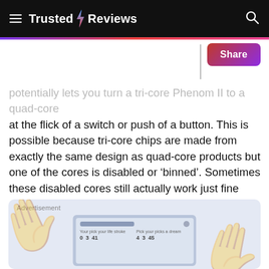Trusted Reviews
potentially lets you turn a tri-core Phenom II to a quad-core at the flick of a switch or push of a button. This is possible because tri-core chips are made from exactly the same design as quad-core products but one of the cores is disabled or ‘binned’. Sometimes these disabled cores still actually work just fine after re-activation, though it’s a complete lottery so certainly shouldn’t be your primary reason for investing in this board..
[Figure (screenshot): Advertisement banner with decorative hand watermarks and a small application screenshot card showing a UI with colored dots and bars, labeled 'Advertisement']